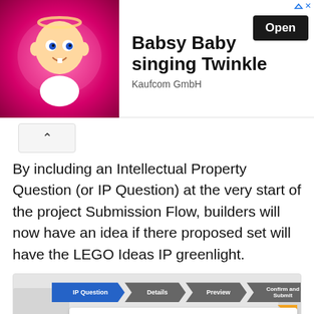[Figure (screenshot): Advertisement banner for 'Babsy Baby singing Twinkle' app by Kaufcom GmbH with an Open button]
By including an Intellectual Property Question (or IP Question) at the very start of the project Submission Flow, builders will now have an idea if there proposed set will have the LEGO Ideas IP greenlight.
[Figure (screenshot): Screenshot of LEGO Ideas submission flow showing IP Question step with a form asking 'Is your idea based on an Intellectual Property?' and options for No and Yes with a text input and Continue button]